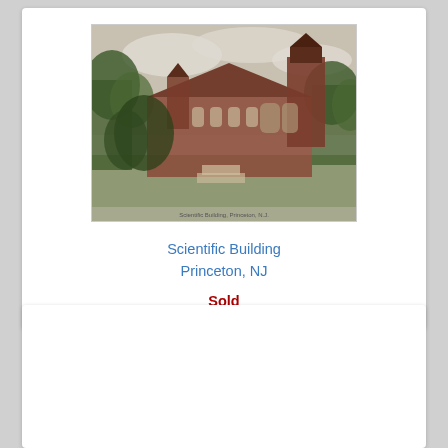[Figure (photo): Vintage postcard image of the Scientific Building in Princeton, NJ. A large Gothic-style brick building with towers and arched windows, surrounded by trees, with a cloudy sky background.]
Scientific Building
Princeton, NJ
Sold